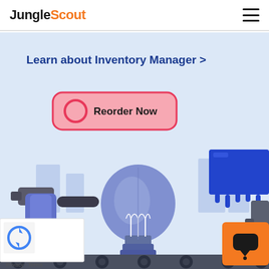JungleScout
[Figure (screenshot): JungleScout Inventory Manager promotional screenshot showing a light blue background with a 'Learn about Inventory Manager >' text link in dark blue bold, a pink/red rounded button labeled 'Reorder Now' with a circular icon, and illustrated products including a lightbulb, paint can, and other items on a conveyor belt. A reCAPTCHA widget with Privacy and Terms links is in the bottom left. An orange chat widget is in the bottom right.]